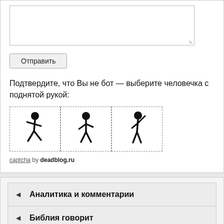[Figure (screenshot): Textarea input box with resize handle]
[Figure (screenshot): Submit button labeled Отправить]
Подтвердите, что Вы не бот — выберите человечка с поднятой рукой:
[Figure (illustration): Three captcha figures in dashed boxes: running figure, walking figure, figure with raised arm]
captcha by deadblog.ru
◄  Аналитика и комментарии
◄  Библия говорит
◄  Возрастая в личной жизни